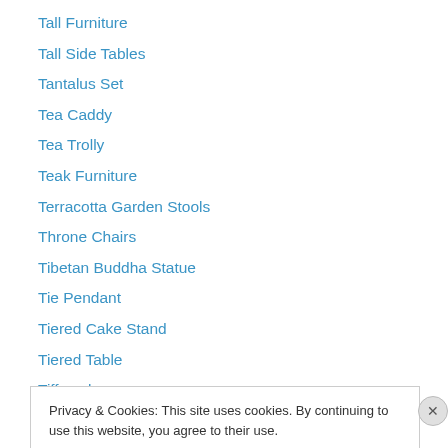Tall Furniture
Tall Side Tables
Tantalus Set
Tea Caddy
Tea Trolly
Teak Furniture
Terracotta Garden Stools
Throne Chairs
Tibetan Buddha Statue
Tie Pendant
Tiered Cake Stand
Tiered Table
Tiffany lamp
Privacy & Cookies: This site uses cookies. By continuing to use this website, you agree to their use. To find out more, including how to control cookies, see here: Cookie Policy